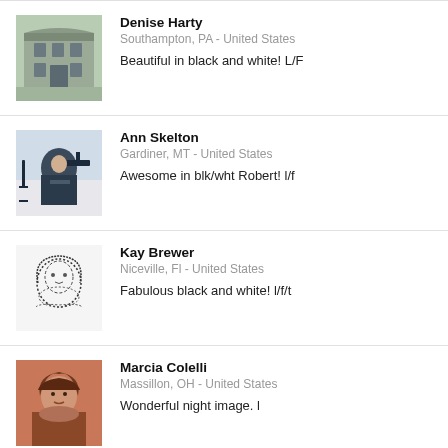Denise Harty
Southampton, PA - United States
Beautiful in black and white! L/F
Ann Skelton
Gardiner, MT - United States
Awesome in blk/wht Robert! l/f
Kay Brewer
Niceville, Fl - United States
Fabulous black and white! l/f/t
Marcia Colelli
Massillon, OH - United States
Wonderful night image. l